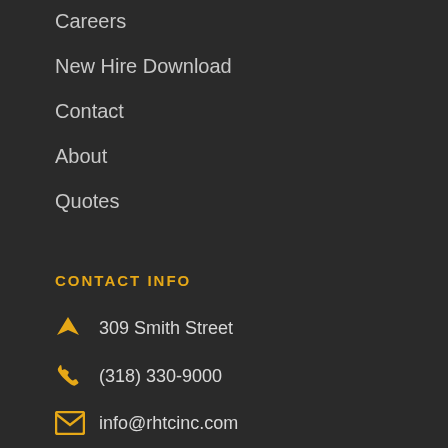Careers
New Hire Download
Contact
About
Quotes
CONTACT INFO
309 Smith Street
(318) 330-9000
info@rhtcinc.com